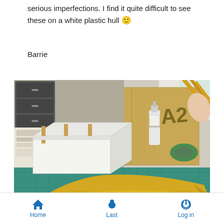serious imperfections. I find it quite difficult to see these on a white plastic hull 🙂
Barrie
[Figure (photo): A model boat hull painted gold/yellow sitting on a teal cutting mat on a workbench. Behind it is a white rectangular jig/box. The workbench has various modelling supplies, a bottle, cardboard box marked A2, and masking tape. A hand holds tools in the upper right.]
Home  Last  Log in